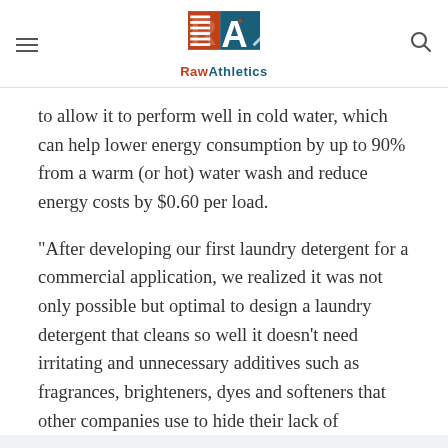RawAthletics
to allow it to perform well in cold water, which can help lower energy consumption by up to 90% from a warm (or hot) water wash and reduce energy costs by $0.60 per load.
“After developing our first laundry detergent for a commercial application, we realized it was not only possible but optimal to design a laundry detergent that cleans so well it doesn’t need irritating and unnecessary additives such as fragrances, brighteners, dyes and softeners that other companies use to hide their lack of